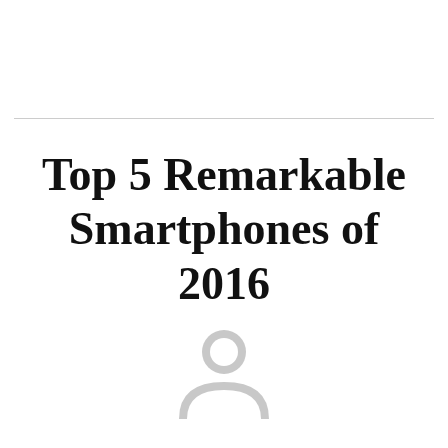Top 5 Remarkable Smartphones of 2016
[Figure (illustration): Generic user avatar icon — a grey circle with a stylized person silhouette (head circle and shoulders arc)]